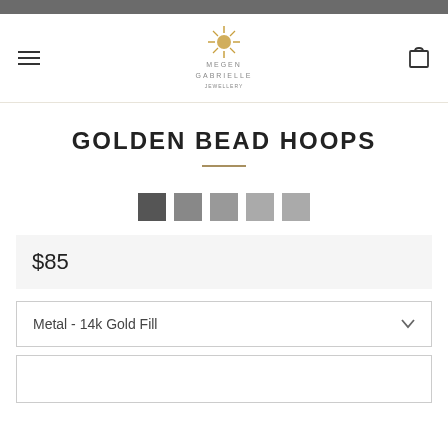[Figure (logo): Megen Gabrielle Jewelry logo with sun/flower icon above brand name]
GOLDEN BEAD HOOPS
[Figure (other): Five thumbnail image selectors, first dark selected, remaining lighter]
$85
Metal  -  14k Gold Fill